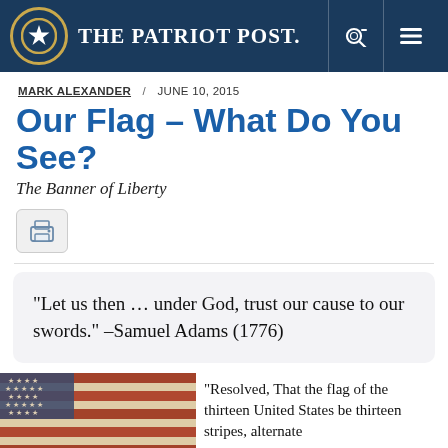The Patriot Post.
MARK ALEXANDER / JUNE 10, 2015
Our Flag – What Do You See?
The Banner of Liberty
[Figure (other): Print button icon]
“Let us then … under God, trust our cause to our swords.” –Samuel Adams (1776)
[Figure (photo): Historical American flag with stars and red and white stripes, aged appearance]
“Resolved, That the flag of the thirteen United States be thirteen stripes, alternate